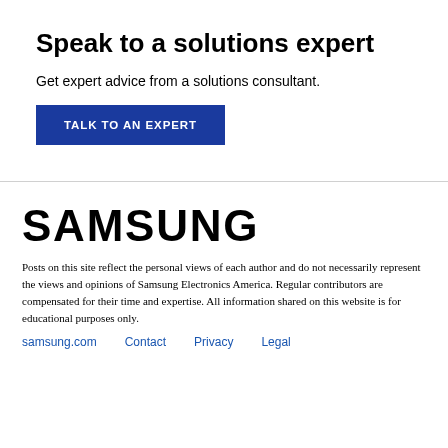Speak to a solutions expert
Get expert advice from a solutions consultant.
[Figure (other): Blue button with text 'TALK TO AN EXPERT']
[Figure (logo): Samsung logo in bold black uppercase letters]
Posts on this site reflect the personal views of each author and do not necessarily represent the views and opinions of Samsung Electronics America. Regular contributors are compensated for their time and expertise. All information shared on this website is for educational purposes only.
samsung.com  Contact  Privacy  Legal